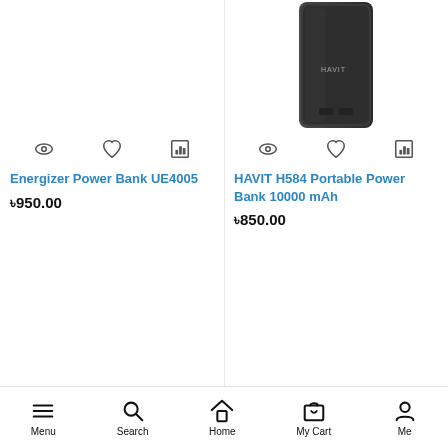[Figure (photo): Product image area for Energizer Power Bank UE4005 (image mostly cropped out)]
[Figure (photo): Photo of HAVIT H584 Portable Power Bank 10000 mAh, a slim black rectangular power bank]
Energizer Power Bank UE4005
৳950.00
HAVIT H584 Portable Power Bank 10000 mAh
৳850.00
Menu  Search  Home  My Cart  Me